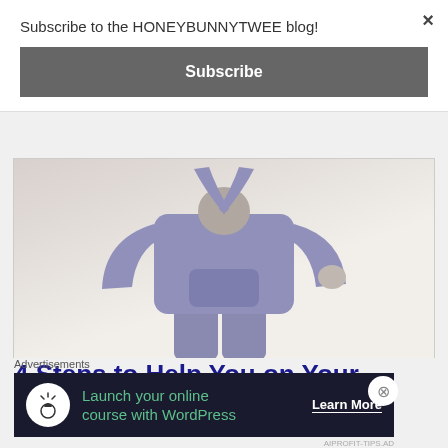Subscribe to the HONEYBUNNYTWEE blog!
Subscribe
[Figure (photo): Person wearing a lavender/purple hoodie sweatsuit, shown from behind/side, with arms raised, against a light background]
4 Steps to Help You on Your Self-
Advertisements
Launch your online course with WordPress
Learn More